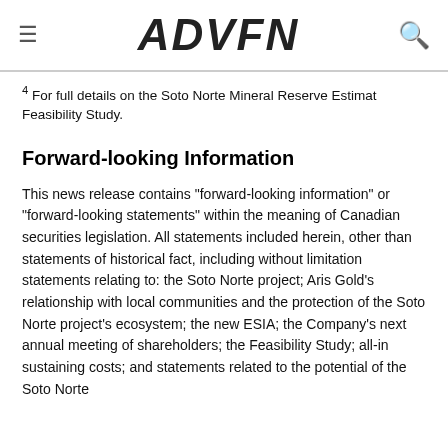ADVFN
4 For full details on the Soto Norte Mineral Reserve Estimat Feasibility Study.
Forward-looking Information
This news release contains "forward-looking information" or "forward-looking statements" within the meaning of Canadian securities legislation. All statements included herein, other than statements of historical fact, including without limitation statements relating to: the Soto Norte project; Aris Gold's relationship with local communities and the protection of the Soto Norte project's ecosystem; the new ESIA; the Company's next annual meeting of shareholders; the Feasibility Study; all-in sustaining costs; and statements related to the potential of the Soto Norte